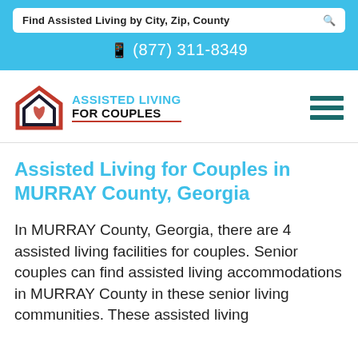Find Assisted Living by City, Zip, County
(877) 311-8349
[Figure (logo): Assisted Living For Couples logo with house/heart icon in red and navy, and teal text]
Assisted Living for Couples in MURRAY County, Georgia
In MURRAY County, Georgia, there are 4 assisted living facilities for couples. Senior couples can find assisted living accommodations in MURRAY County in these senior living communities. These assisted living